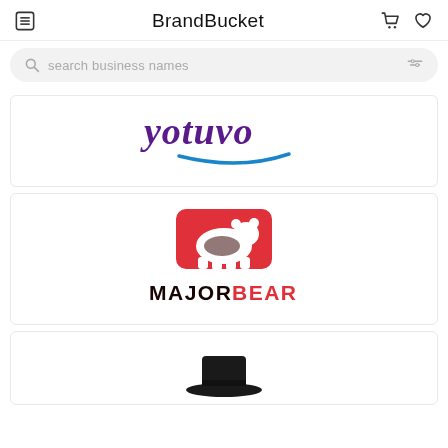BrandBucket
search business names
[Figure (logo): Yotuvo brand logo — stylized purple/violet script text 'yotuvo' with a blue curved underline swoosh]
[Figure (logo): MajorBear brand logo — red rounded rectangle with white bear silhouette, text 'MAJOR' in dark/black bold and 'BEAR' in red bold capitals below]
[Figure (logo): Partially visible logo at bottom — appears to show a figure wearing a black hat]